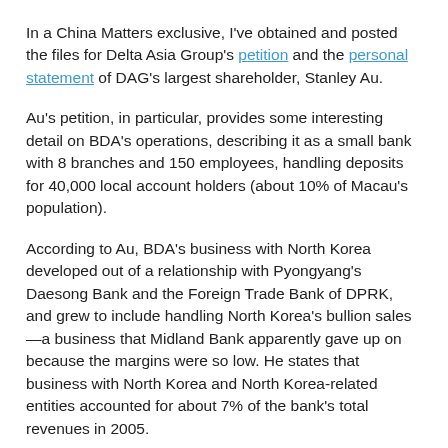In a China Matters exclusive, I've obtained and posted the files for Delta Asia Group's petition and the personal statement of DAG's largest shareholder, Stanley Au.
Au's petition, in particular, provides some interesting detail on BDA's operations, describing it as a small bank with 8 branches and 150 employees, handling deposits for 40,000 local account holders (about 10% of Macau's population).
According to Au, BDA's business with North Korea developed out of a relationship with Pyongyang's Daesong Bank and the Foreign Trade Bank of DPRK, and grew to include handling North Korea's bullion sales—a business that Midland Bank apparently gave up on because the margins were so low. He states that business with North Korea and North Korea-related entities accounted for about 7% of the bank's total revenues in 2005.
Concerning the notorious allegations that North Korea was using BDA to inject counterfeit currency into the world financial system, Au declares under penalty of perjury that